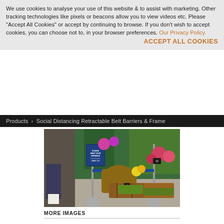We use cookies to analyse your use of this website & to assist with marketing. Other tracking technologies like pixels or beacons allow you to view videos etc. Please "Accept All Cookies" or accept by continuing to browse. If you don't wish to accept cookies, you can choose not to, in your browser preferences. Our Privacy Policy.
ACCEPT ALL COOKIES
Products > Social Distancing Retractable Belt Barriers & Frame
[Figure (photo): Two silver retractable belt barrier posts with a blue belt stretched between them, set up in front of a flower/plant market stall. A blue sign reading 'PLEASE KEEP YOUR DISTANCE - THANK YOU' is mounted on one post. A person in jeans and white sneakers is visible on the left edge.]
MORE IMAGES